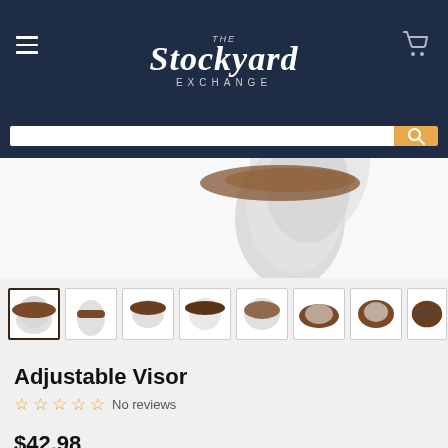The Stockyard Exchange
[Figure (photo): Product photo of an adjustable visor on a white mannequin head, main product view]
[Figure (photo): Thumbnail gallery showing 8 views of the adjustable visor product from different angles]
Adjustable Visor
No reviews
$42.98